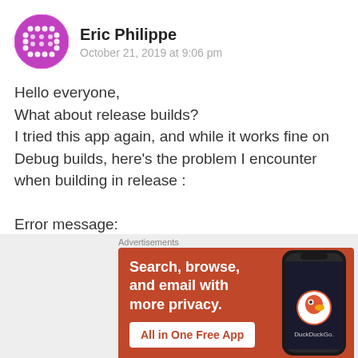[Figure (illustration): Purple circular avatar with dot/grid pattern on magenta/purple background]
Eric Philippe
October 21, 2019 at 9:06 pm
Hello everyone,
What about release builds?
I tried this app again, and while it works fine on Debug builds, here's the problem I encounter when building in release :

Error message:
Could not find a recipe file for the referenced UWP application at
Advertisements
[Figure (screenshot): DuckDuckGo advertisement banner on orange-red background: 'Search, browse, and email with more privacy. All in One Free App' with DuckDuckGo logo and phone mockup]